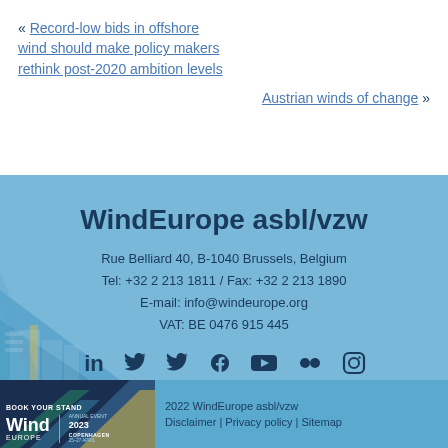« Record-low bids in offshore wind should make policy makers rethink post-2020 ambition levels
Austrian winds of change »
WindEurope asbl/vzw
Rue Belliard 40, B-1040 Brussels, Belgium
Tel: +32 2 213 1811 / Fax: +32 2 213 1890
E-mail: info@windeurope.org
VAT: BE 0476 915 445
[Figure (infographic): Social media icons: LinkedIn, Twitter, Twitter, Facebook, YouTube, Flickr, Instagram]
[Figure (logo): WindEurope Annual Event 2023 Copenhagen 25-27 April logo with geometric decoration and Book Your Stand text]
2022 WindEurope asbl/vzw
Disclaimer | Privacy policy | Sitemap